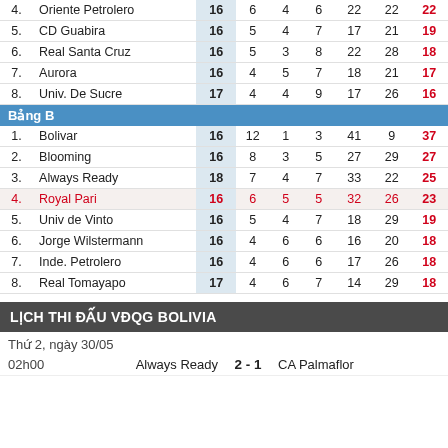| # | Team | GP | W | D | L | GF | GA | Pts |
| --- | --- | --- | --- | --- | --- | --- | --- | --- |
| 4. | Oriente Petrolero | 16 | 6 | 4 | 6 | 22 | 22 | 22 |
| 5. | CD Guabira | 16 | 5 | 4 | 7 | 17 | 21 | 19 |
| 6. | Real Santa Cruz | 16 | 5 | 3 | 8 | 22 | 28 | 18 |
| 7. | Aurora | 16 | 4 | 5 | 7 | 18 | 21 | 17 |
| 8. | Univ. De Sucre | 17 | 4 | 4 | 9 | 17 | 26 | 16 |
| Bảng B |  |  |  |  |  |  |  |  |
| 1. | Bolivar | 16 | 12 | 1 | 3 | 41 | 9 | 37 |
| 2. | Blooming | 16 | 8 | 3 | 5 | 27 | 29 | 27 |
| 3. | Always Ready | 18 | 7 | 4 | 7 | 33 | 22 | 25 |
| 4. | Royal Pari | 16 | 6 | 5 | 5 | 32 | 26 | 23 |
| 5. | Univ de Vinto | 16 | 5 | 4 | 7 | 18 | 29 | 19 |
| 6. | Jorge Wilstermann | 16 | 4 | 6 | 6 | 16 | 20 | 18 |
| 7. | Inde. Petrolero | 16 | 4 | 6 | 6 | 17 | 26 | 18 |
| 8. | Real Tomayapo | 17 | 4 | 6 | 7 | 14 | 29 | 18 |
LỊCH THI ĐẤU VĐQG BOLIVIA
Thứ 2, ngày 30/05
02h00   Always Ready  2 - 1  CA Palmaflor